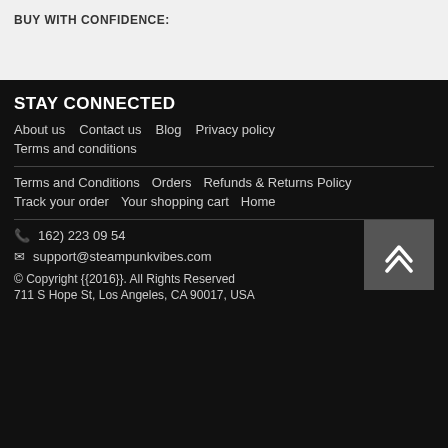BUY WITH CONFIDENCE:
STAY CONNECTED
About us   Contact us   Blog   Privacy policy
Terms and conditions
Terms and Conditions   Orders   Refunds & Returns Policy
Track your order   Your shopping cart   Home
162) 223 09 54
support@steampunkvibes.com
© Copyright {{2016}}. All Rights Reserved
711 S Hope St, Los Angeles, CA 90017, USA